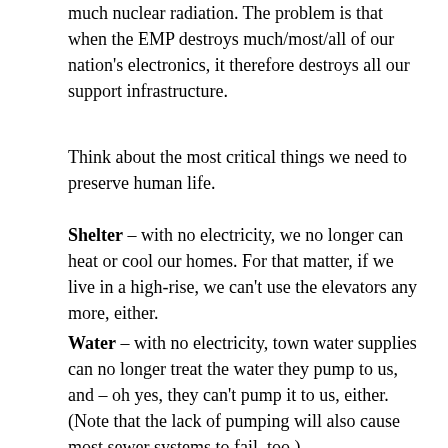much nuclear radiation.  The problem is that when the EMP destroys much/most/all of our nation's electronics, it therefore destroys all our support infrastructure.
Think about the most critical things we need to preserve human life.
Shelter – with no electricity, we no longer can heat or cool our homes.  For that matter, if we live in a high-rise, we can't use the elevators any more, either.
Water – with no electricity, town water supplies can no longer treat the water they pump to us, and – oh yes, they can't pump it to us, either.  (Note that the lack of pumping will also cause most sewer systems to fail, too.)
Food –  Many/most trucks and trains will fail due to the EMP.  Those that don't fail will run out of diesel or